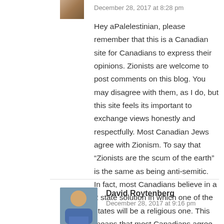December 28, 2017 at 8:28 pm
Hey aPalelestinian, please remember that this is a Canadian site for Canadians to express their opinions. Zionists are welcome to post comments on this blog. You may disagree with them, as I do, but this site feels its important to exchange views honestly and respectfully. Most Canadian Jews agree with Zionism. To say that “Zionists are the scum of the earth” is the same as being anti-semitic.
In fact, most Canadians believe in a 2 state solution in which one of the states will be a religious one. This means that most Canadians agree with Zionism, whether they understand it or not.
[Figure (photo): Avatar photo of commenter - person in blue shirt]
David Roytenberg
December 28, 2017 at 9:16 pm